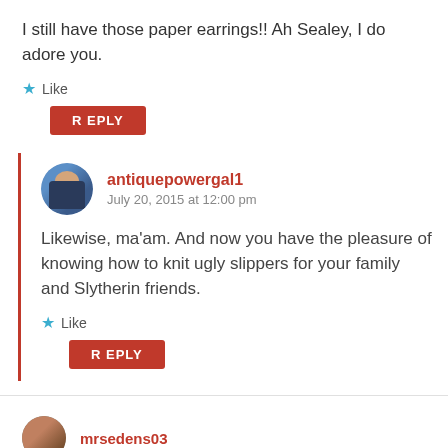I still have those paper earrings!! Ah Sealey, I do adore you.
Like
REPLY
antiquepowergal1
July 20, 2015 at 12:00 pm
Likewise, ma'am. And now you have the pleasure of knowing how to knit ugly slippers for your family and Slytherin friends.
Like
REPLY
mrsedens03